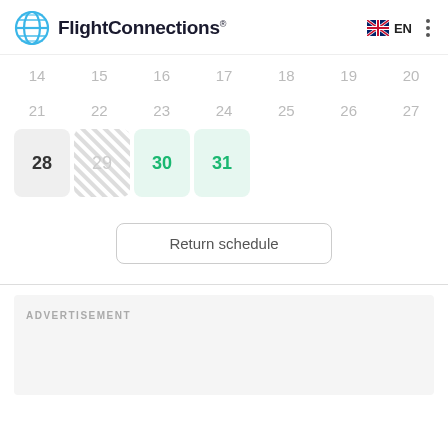FlightConnections EN
[Figure (screenshot): Calendar view showing days 14-20, 21-27, and 28-31. Day 28 is grey, 29 is striped/unavailable, 30 and 31 are highlighted in green.]
Return schedule
ADVERTISEMENT